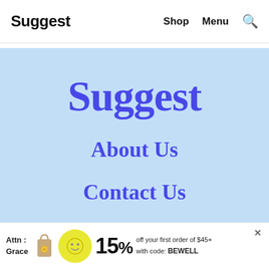Suggest   Shop   Menu   🔍
[Figure (screenshot): Blue light background menu overlay with 'Suggest' logo in large purple serif font, followed by 'About Us' and 'Contact Us' navigation links in purple serif font]
[Figure (infographic): Advertisement banner: 'Attn: Grace' with shopping bag image, yellow circle, '15% off your first order of $45+ with code: BEWELL', with close X button]